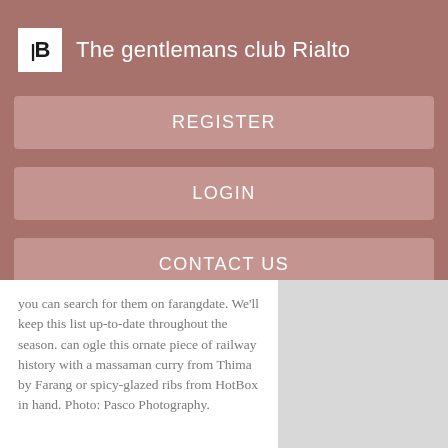The gentlemans club Rialto
REGISTER
LOGIN
CONTACT US
you can search for them on farangdate. We'll keep this list up-to-date throughout the season. can ogle this ornate piece of railway history with a massaman curry from Thima by Farang or spicy-glazed ribs from HotBox in hand. Photo: Pasco Photography.